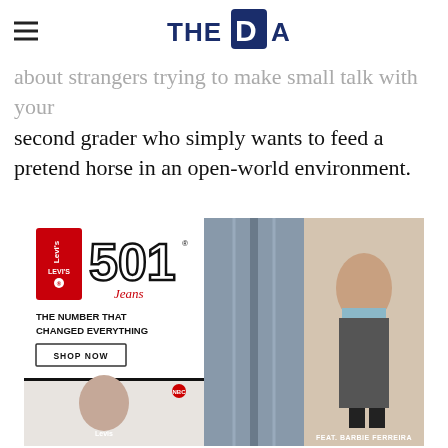THE DAD
about strangers trying to make small talk with your second grader who simply wants to feed a pretend horse in an open-world environment.
[Figure (photo): Levi's 501 Jeans advertisement featuring Barbie Ferreira. Left side shows Levi's 501 logo with text 'THE NUMBER THAT CHANGED EVERYTHING' and a SHOP NOW button, along with a model holding a retro phone wearing a Levi's t-shirt. Right side shows two images: close-up of denim jeans and a full-body shot of Barbie Ferreira wearing a light blue crop top and dark jeans.]